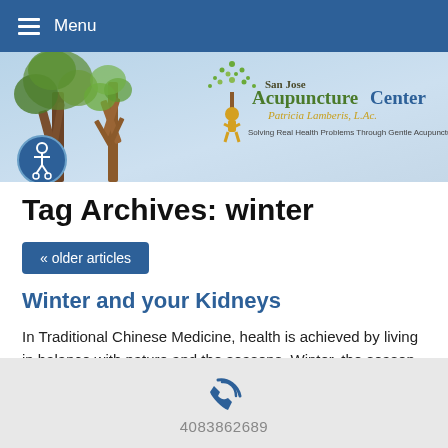Menu
[Figure (illustration): San Jose Acupuncture Center banner with trees, logo, person icon, and tagline 'Solving Real Health Problems Through Gentle Acupuncture.. You talk. We listen!!!']
Tag Archives: winter
« older articles
Winter and your Kidneys
In Traditional Chinese Medicine, health is achieved by living in balance with nature and the seasons. Winter, the season of the Water Element, is the season for slowing down, reflecting, and conserving our
4083862689